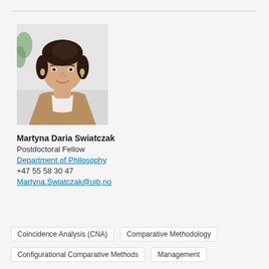[Figure (photo): Professional headshot of Martyna Daria Swiatczak, a woman with dark hair pulled back, wearing a tan/khaki blazer over a white top, smiling, against a light background with a hint of greenery.]
Martyna Daria Swiatczak
Postdoctoral Fellow
Department of Philosophy
+47 55 58 30 47
Martyna.Swiatczak@uib.no
Coincidence Analysis (CNA)
Comparative Methodology
Configurational Comparative Methods
Management